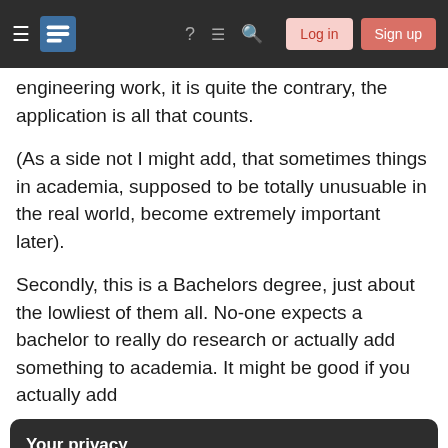Stack Exchange navigation bar with hamburger menu, logo, help, chat, search icons, Log in and Sign up buttons
engineering work, it is quite the contrary, the application is all that counts.
(As a side not I might add, that sometimes things in academia, supposed to be totally unusuable in the real world, become extremely important later).
Secondly, this is a Bachelors degree, just about the lowliest of them all. No-one expects a bachelor to really do research or actually add something to academia. It might be good if you actually add
Your privacy
By clicking "Accept all cookies", you agree Stack Exchange can store cookies on your device and disclose information in accordance with our Cookie Policy.
could actually be not as bad as a lot of the other.